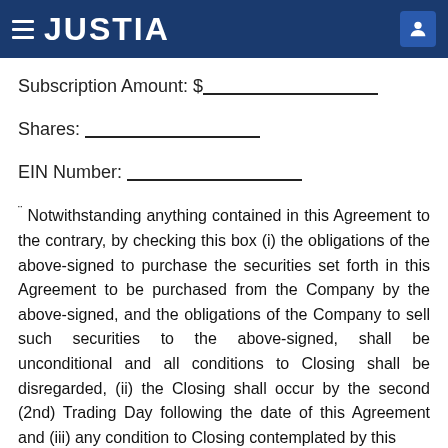JUSTIA
Subscription Amount: $______________
Shares: ______________
EIN Number: ______________
¨ Notwithstanding anything contained in this Agreement to the contrary, by checking this box (i) the obligations of the above-signed to purchase the securities set forth in this Agreement to be purchased from the Company by the above-signed, and the obligations of the Company to sell such securities to the above-signed, shall be unconditional and all conditions to Closing shall be disregarded, (ii) the Closing shall occur by the second (2nd) Trading Day following the date of this Agreement and (iii) any condition to Closing contemplated by this